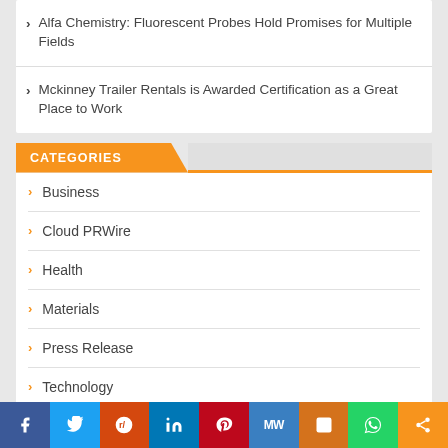Alfa Chemistry: Fluorescent Probes Hold Promises for Multiple Fields
Mckinney Trailer Rentals is Awarded Certification as a Great Place to Work
CATEGORIES
Business
Cloud PRWire
Health
Materials
Press Release
Technology
f  Twitter  Reddit  in  Pinterest  MW  Mix  WhatsApp  Share